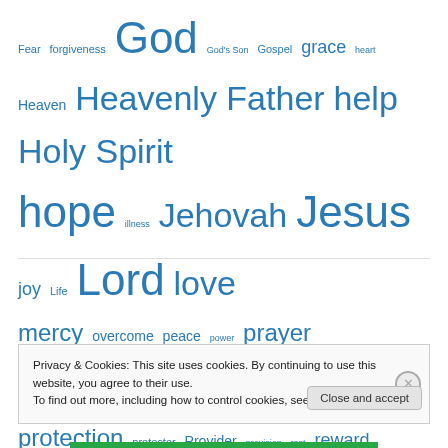Fear forgiveness God God's Son Gospel grace heart Heaven Heavenly Father help Holy Spirit hope illness Jehovah Jesus joy Life Lord love mercy overcome peace power prayer Promise protection protector Provider provision rest reward salvation save Savior sin soul strength struggles trials trust victory wisdom work Yahweh Yeshua
Privacy & Cookies: This site uses cookies. By continuing to use this website, you agree to their use. To find out more, including how to control cookies, see here: Cookie Policy
Close and accept